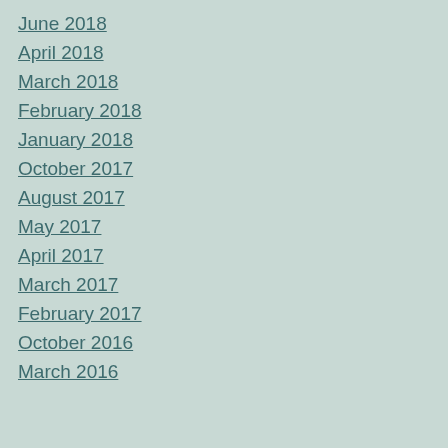June 2018
April 2018
March 2018
February 2018
January 2018
October 2017
August 2017
May 2017
April 2017
March 2017
February 2017
October 2016
March 2016